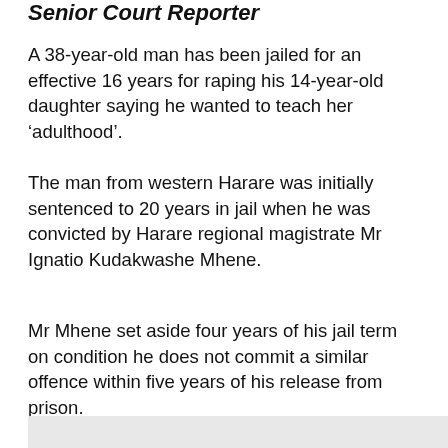Senior Court Reporter
A 38-year-old man has been jailed for an effective 16 years for raping his 14-year-old daughter saying he wanted to teach her ‘adulthood’.
The man from western Harare was initially sentenced to 20 years in jail when he was convicted by Harare regional magistrate Mr Ignatio Kudakwashe Mhene.
Mr Mhene set aside four years of his jail term on condition he does not commit a similar offence within five years of his release from prison.